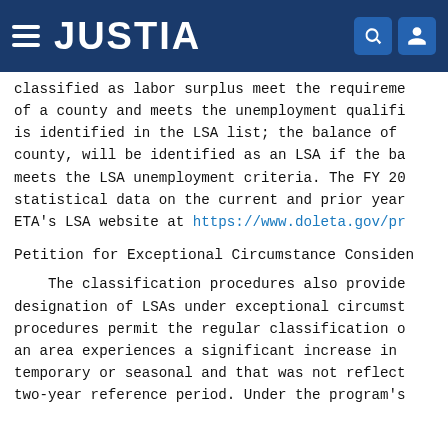JUSTIA
classified as labor surplus meet the requirements of a county and meets the unemployment qualifications is identified in the LSA list; the balance of county, will be identified as an LSA if the balance meets the LSA unemployment criteria. The FY 20 statistical data on the current and prior year ETA's LSA website at https://www.doleta.gov/pr
Petition for Exceptional Circumstance Consideration
The classification procedures also provide for designation of LSAs under exceptional circumstances. procedures permit the regular classification of an area experiences a significant increase in temporary or seasonal and that was not reflected two-year reference period. Under the program's classification procedures, subject to